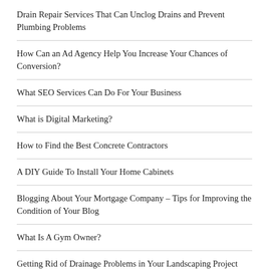Drain Repair Services That Can Unclog Drains and Prevent Plumbing Problems
How Can an Ad Agency Help You Increase Your Chances of Conversion?
What SEO Services Can Do For Your Business
What is Digital Marketing?
How to Find the Best Concrete Contractors
A DIY Guide To Install Your Home Cabinets
Blogging About Your Mortgage Company – Tips for Improving the Condition of Your Blog
What Is A Gym Owner?
Getting Rid of Drainage Problems in Your Landscaping Project